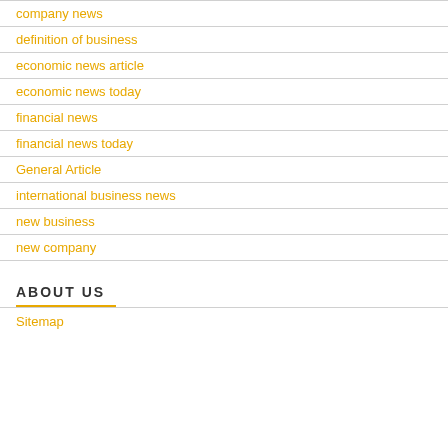company news
definition of business
economic news article
economic news today
financial news
financial news today
General Article
international business news
new business
new company
ABOUT US
Sitemap